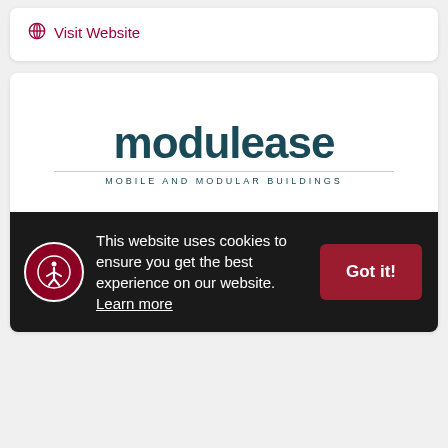Visit Website
[Figure (logo): Modulease logo with text 'modulease' in dark teal bold font and subtitle 'MOBILE AND MODULAR BUILDINGS']
Modulease Corporation
This website uses cookies to ensure you get the best experience on our website. Learn more
Got it!